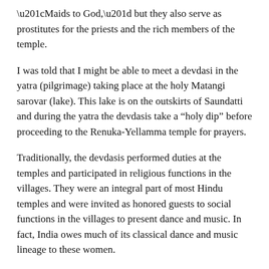“Maids to God,” but they also serve as prostitutes for the priests and the rich members of the temple.
I was told that I might be able to meet a devdasi in the yatra (pilgrimage) taking place at the holy Matangi sarovar (lake). This lake is on the outskirts of Saundatti and during the yatra the devdasis take a “holy dip” before proceeding to the Renuka-Yellamma temple for prayers.
Traditionally, the devdasis performed duties at the temples and participated in religious functions in the villages. They were an integral part of most Hindu temples and were invited as honored guests to social functions in the villages to present dance and music. In fact, India owes much of its classical dance and music lineage to these women.
Photography and Odd distinct examples of India...